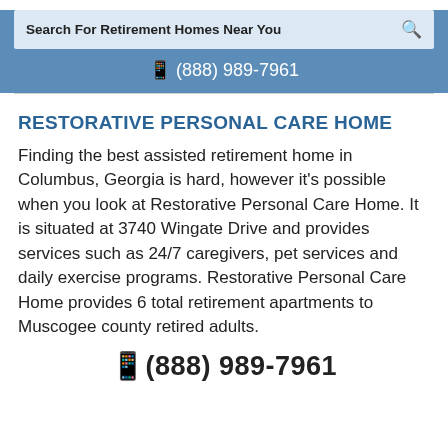[Figure (screenshot): Search bar with text 'Search For Retirement Homes Near You' and a search icon on the right, on a light blue background]
☎ (888) 989-7961
RESTORATIVE PERSONAL CARE HOME
Finding the best assisted retirement home in Columbus, Georgia is hard, however it's possible when you look at Restorative Personal Care Home. It is situated at 3740 Wingate Drive and provides services such as 24/7 caregivers, pet services and daily exercise programs. Restorative Personal Care Home provides 6 total retirement apartments to Muscogee county retired adults.
☎ (888) 989-7961